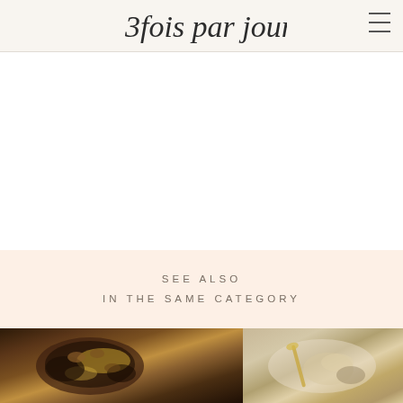3 fois par jour
SEE ALSO
IN THE SAME CATEGORY
[Figure (photo): Food photography strip showing two dishes: left image shows a dark bowl with corn and toppings, right image shows a light colored dish with garnish]